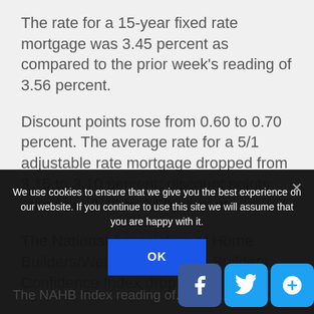The rate for a 15-year fixed rate mortgage was 3.45 percent as compared to the prior week's reading of 3.56 percent.
Discount points rose from 0.60 to 0.70 percent. The average rate for a 5/1 adjustable rate mortgage dropped from 3.15 to 3.10 percent; discount points rose from 0.40 to 0.50 percent.
The National Association of Home Builders/Wells Fargo Home Builders Confidence Index dropped
We use cookies to ensure that we give you the best experience on our website. If you continue to use this site we will assume that you are happy with it.
OK